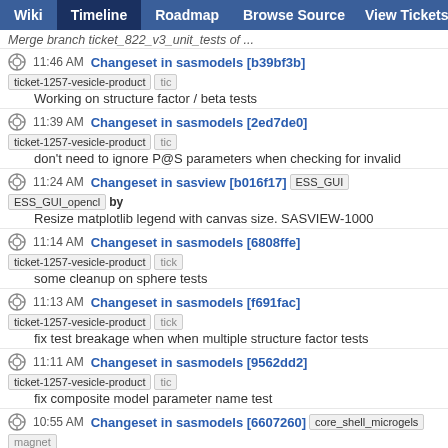Wiki | Timeline | Roadmap | Browse Source | View Tickets | Search
Merge branch ticket_822_v3_unit_tests of ...
11:46 AM Changeset in sasmodels [b39bf3b] ticket-1257-vesicle-product tic... Working on structure factor / beta tests
11:39 AM Changeset in sasmodels [2ed7de0] ticket-1257-vesicle-product tic... don't need to ignore P@S parameters when checking for invalid
11:24 AM Changeset in sasview [b016f17] ESS_GUI ESS_GUI_opencl by Resize matplotlib legend with canvas size. SASVIEW-1000
11:14 AM Changeset in sasmodels [6808ffe] ticket-1257-vesicle-product tick... some cleanup on sphere tests
11:13 AM Changeset in sasmodels [f691fac] ticket-1257-vesicle-product tick... fix test breakage when when multiple structure factor tests
11:11 AM Changeset in sasmodels [9562dd2] ticket-1257-vesicle-product tic... fix composite model parameter name test
10:55 AM Changeset in sasmodels [6607260] core_shell_microgels magnet... product ticket_1156 ticket_1265_superball ticket_822_more_unit_tests by smk78 Tweak docs
10:36 AM Ticket #833 (Improve smearing help) closed by smk78 fixed: In 8d2df05cc8c770af51d340dda4bdf2fe60d8a371/sasmodels
10:35 AM Changeset in sasmodels [8d2df05] core_shell_microgels magnet... product ticket_1156 ticket_1265_superball ticket_822_more_unit_tests by smk78